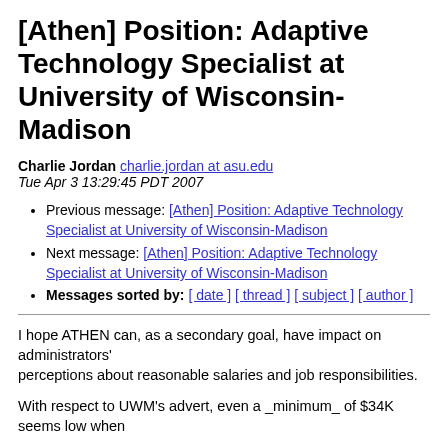[Athen] Position: Adaptive Technology Specialist at University of Wisconsin-Madison
Charlie Jordan charlie.jordan at asu.edu
Tue Apr 3 13:29:45 PDT 2007
Previous message: [Athen] Position: Adaptive Technology Specialist at University of Wisconsin-Madison
Next message: [Athen] Position: Adaptive Technology Specialist at University of Wisconsin-Madison
Messages sorted by: [ date ] [ thread ] [ subject ] [ author ]
I hope ATHEN can, as a secondary goal, have impact on administrators'
perceptions about reasonable salaries and job responsibilities.
With respect to UWM's advert, even a _minimum_ of $34K seems low when